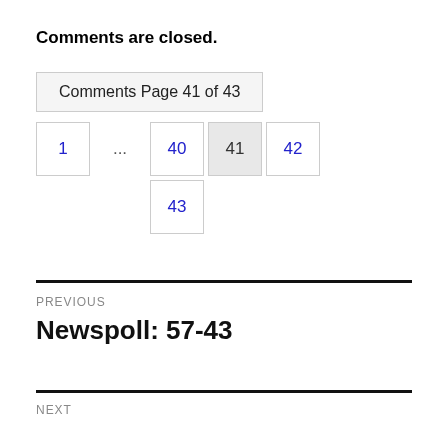Comments are closed.
Comments Page 41 of 43
1 ... 40 41 42
43
PREVIOUS
Newspoll: 57-43
NEXT